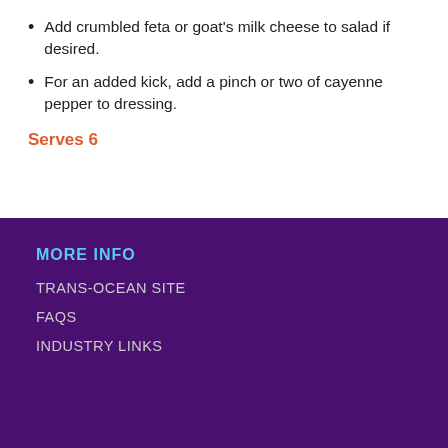Add crumbled feta or goat's milk cheese to salad if desired.
For an added kick, add a pinch or two of cayenne pepper to dressing.
Serves 6
MORE INFO
TRANS-OCEAN SITE
FAQS
INDUSTRY LINKS